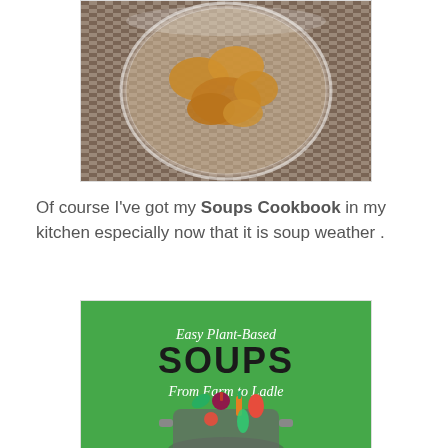[Figure (photo): Top-down view of golden/amber cooked fruit pieces (possibly peaches or pears) in a glass jar, set on a woven placemat or basket-weave surface]
Of course I've got my Soups Cookbook in my kitchen especially now that it is soup weather .
[Figure (photo): Book cover for 'Easy Plant-Based SOUPS From Farm to Ladle' with a bright green background and a soup pot overflowing with colorful vegetables]